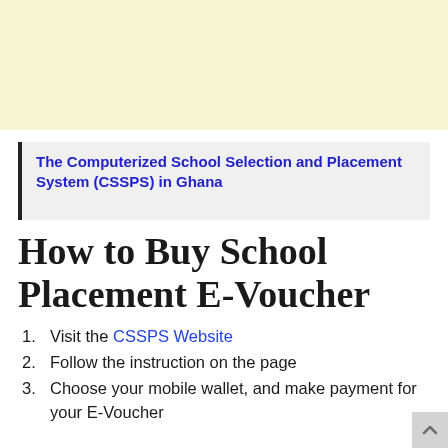[Figure (other): Yellow/cream colored advertisement banner at top of page]
The Computerized School Selection and Placement System (CSSPS) in Ghana
How to Buy School Placement E-Voucher
Visit the CSSPS Website
Follow the instruction on the page
Choose your mobile wallet, and make payment for your E-Voucher